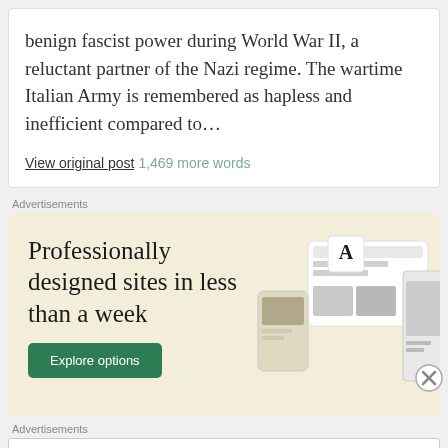benign fascist power during World War II, a reluctant partner of the Nazi regime. The wartime Italian Army is remembered as hapless and inefficient compared to...
View original post 1,469 more words
Advertisements
[Figure (infographic): Advertisement banner with beige background reading 'Professionally designed sites in less than a week' with a green 'Explore options' button and mockup screenshots on the right]
Advertisements
[Figure (infographic): Advertisement banner for Pressable: 'ThePlatform Where WordPress Works Best' with Pressable logo on the right]